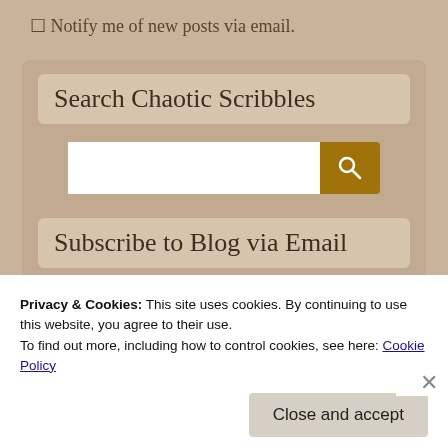☐ Notify me of new posts via email.
Search Chaotic Scribbles
Subscribe to Blog via Email
Enter your email address to subscribe to this blog
Privacy & Cookies: This site uses cookies. By continuing to use this website, you agree to their use.
To find out more, including how to control cookies, see here: Cookie Policy
Close and accept